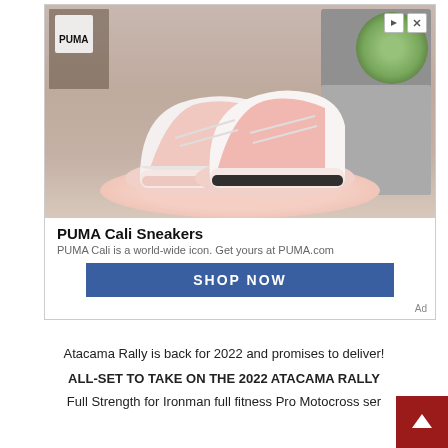[Figure (photo): PUMA advertisement showing pink and white Cali sneakers on a pink platform display, with a record player in the background. PUMA logo in top-left. Ad navigation icons in top-right.]
PUMA Cali Sneakers
PUMA Cali is a world-wide icon. Get yours at PUMA.com
SHOP NOW
Ad
Atacama Rally is back for 2022 and promises to deliver!
ALL-SET TO TAKE ON THE 2022 ATACAMA RALLY
Full Strength for Ironman full fitness Pro Motocross ser